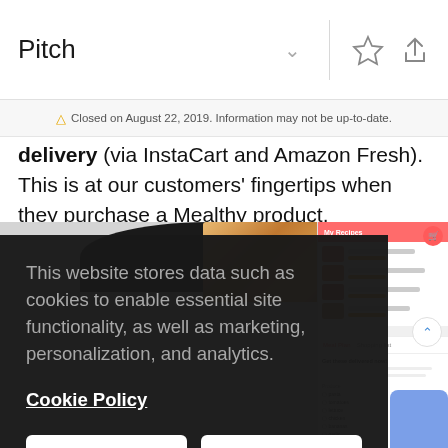Pitch
⚠ Closed on August 22, 2019. Information may not be up-to-date.
delivery (via InstaCart and Amazon Fresh). This is at our customers' fingertips when they purchase a Mealthy product.
[Figure (screenshot): Dark cookie consent overlay on a website showing a kitchen appliance and recipe app screenshots. Overlay contains cookie policy notice with Accept and Deny buttons.]
This website stores data such as cookies to enable essential site functionality, as well as marketing, personalization, and analytics.
Cookie Policy
Accept
Deny